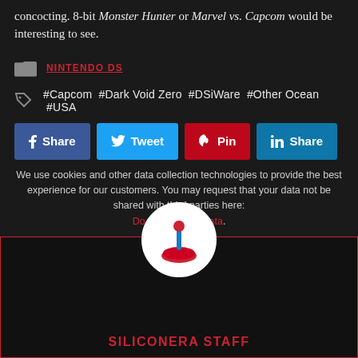concocting. 8-bit Monster Hunter or Marvel vs. Capcom would be interesting to see.
NINTENDO DS
#Capcom #Dark Void Zero #DSiWare #Other Ocean #USA
[Figure (infographic): Social share buttons: Facebook Share, Twitter Tweet, Pinterest Pin, LinkedIn Share]
We use cookies and other data collection technologies to provide the best experience for our customers. You may request that your data not be shared with third parties here: Do Not Sell My Data.
[Figure (logo): Siliconera Staff joystick logo — white circle with red joystick controller illustration inside]
SILICONERA STAFF